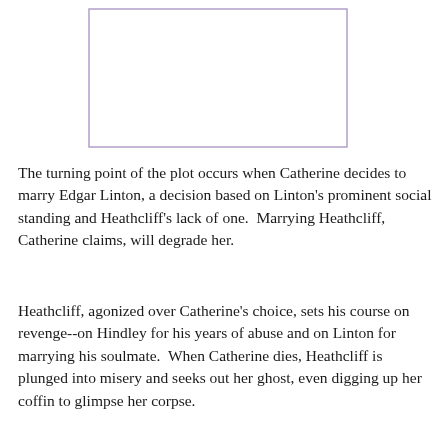[Figure (other): Empty rectangular box with thin purple/lavender border, likely a placeholder for an image.]
The turning point of the plot occurs when Catherine decides to marry Edgar Linton, a decision based on Linton's prominent social standing and Heathcliff's lack of one.  Marrying Heathcliff, Catherine claims, will degrade her.
Heathcliff, agonized over Catherine's choice, sets his course on revenge--on Hindley for his years of abuse and on Linton for marrying his soulmate.  When Catherine dies, Heathcliff is plunged into misery and seeks out her ghost, even digging up her coffin to glimpse her corpse.